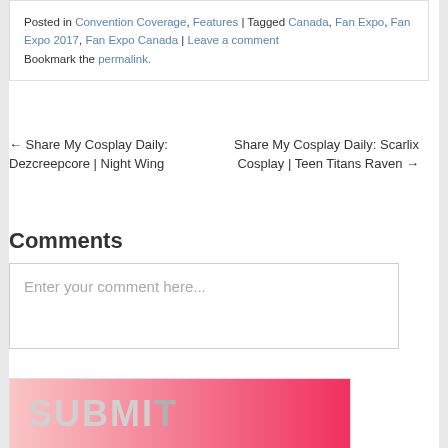Posted in Convention Coverage, Features | Tagged Canada, Fan Expo, Fan Expo 2017, Fan Expo Canada | Leave a comment
Bookmark the permalink.
← Share My Cosplay Daily: Dezcreepcore | Night Wing    Share My Cosplay Daily: Scarlix Cosplay | Teen Titans Raven →
Comments
Enter your comment here...
[Figure (other): Partial view of a pink/red Submit banner with large bold grey text reading SUBMIT]